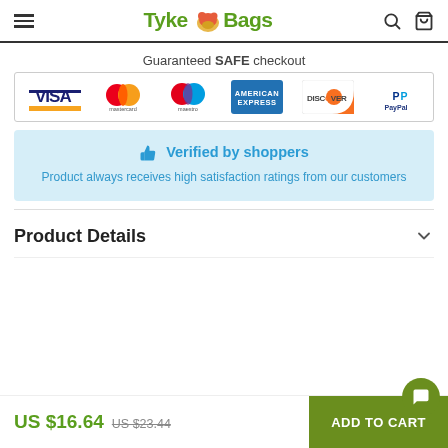TykeBags navigation header with hamburger menu, logo, search and cart icons
Guaranteed SAFE checkout
[Figure (other): Payment method logos: VISA, Mastercard, Maestro, American Express, Discover, PayPal]
[Figure (infographic): Verified by shoppers badge — thumbs up icon with text: Product always receives high satisfaction ratings from our customers]
Product Details
US $16.64
US $23.44